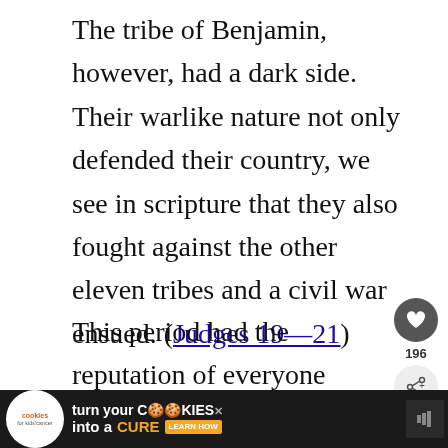The tribe of Benjamin, however, had a dark side. Their warlike nature not only defended their country, we see in scripture that they also fought against the other eleven tribes and a civil war ensued. (Judges 19—21)
This period had the reputation of everyone doing what was right in his own eyes (Judges 21:25). Wha[t triggered] the civil war was the horrific abuse and
[Figure (screenshot): Social media sidebar with heart/like button (196 count) and share button, plus a 'WHAT'S NEXT' panel showing 'The Tribe of Zebulun:...']
[Figure (screenshot): Advertisement banner: 'cookies for kids cancer — turn your COOKIES into a CURE LEARN HOW' on dark background]